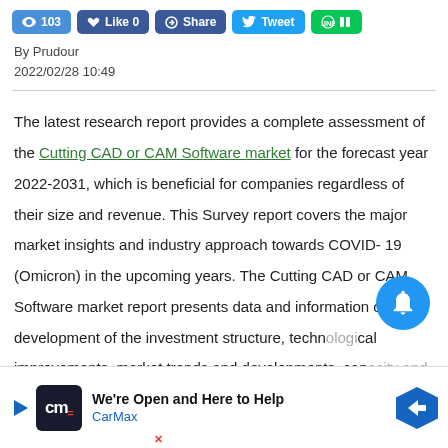103 views | Like 0 | Share | Tweet | LINE
By Prudour
2022/02/28 10:49
The latest research report provides a complete assessment of the Cutting CAD or CAM Software market for the forecast year 2022-2031, which is beneficial for companies regardless of their size and revenue. This Survey report covers the major market insights and industry approach towards COVID-19 (Omicron) in the upcoming years. The Cutting CAD or CAM Software market report presents data and information on the development of the investment structure, technological improvements, market trends and developments, capacity and comprehensive information on the key players of the Cutting CAD or CAM Software market